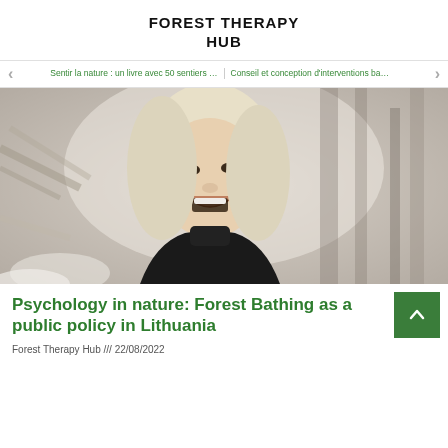FOREST THERAPY HUB
Sentir la nature : un livre avec 50 sentiers … | Conseil et conception d'interventions ba…
[Figure (photo): A smiling woman with long blonde hair laughing outdoors in a wintery forest setting, wearing a black turtleneck. Background shows blurred trees.]
Psychology in nature: Forest Bathing as a public policy in Lithuania
Forest Therapy Hub /// 22/08/2022